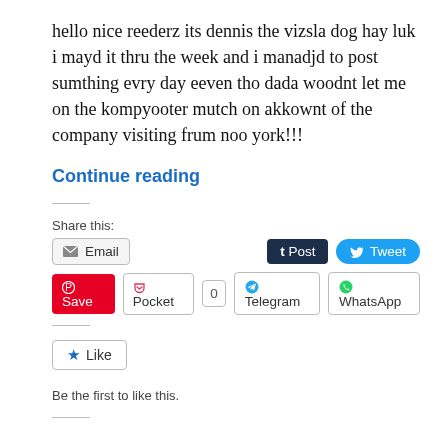hello nice reederz its dennis the vizsla dog hay luk i mayd it thru the week and i manadjd to post sumthing evry day eeven tho dada woodnt let me on the kompyooter mutch on akkownt of the company visiting frum noo york!!!
Continue reading
Share this:
Email | Post | Tweet | Save | Pocket | 0 | Telegram | WhatsApp
Like
Be the first to like this.